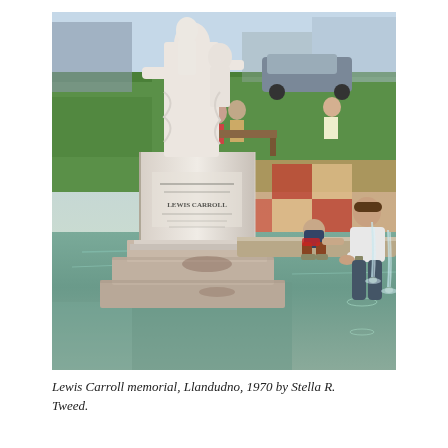[Figure (photo): Photograph of the Lewis Carroll memorial statue in Llandudno, 1970. The white marble statue and pedestal with inscription sits in a shallow fountain pool. A man and a young child are crouching at the edge of the pool, playing with the water. Green lawn and people in the background.]
Lewis Carroll memorial, Llandudno, 1970 by Stella R. Tweed.